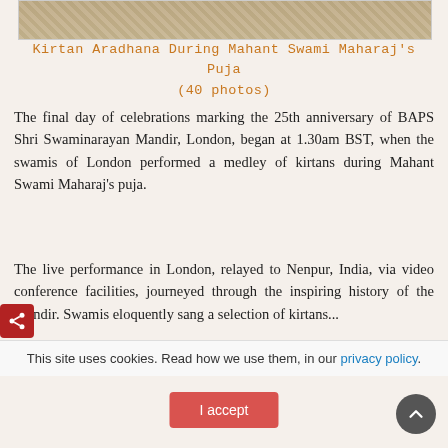[Figure (photo): Top portion of a photo showing decorative elements during Kirtan Aradhana]
Kirtan Aradhana During Mahant Swami Maharaj's Puja
(40 photos)
The final day of celebrations marking the 25th anniversary of BAPS Shri Swaminarayan Mandir, London, began at 1.30am BST, when the swamis of London performed a medley of kirtans during Mahant Swami Maharaj's puja.
The live performance in London, relayed to Nenpur, India, via video conference facilities, journeyed through the inspiring history of the Mandir. Swamis eloquently sang a selection of kirtans...
This site uses cookies. Read how we use them, in our privacy policy.